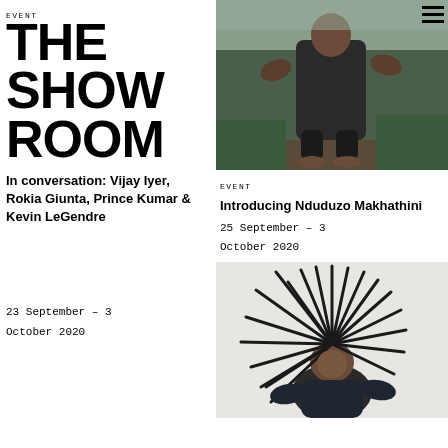THE SHOWROOM
EVENT
In conversation: Vijay Iyer, Rokia Giunta, Prince Kumar & Kevin LeGendre
23 September – 3 October 2020
[Figure (photo): Person squatting outdoors among vegetation, barefoot, wearing dark clothing]
EVENT
Introducing Nduduzo Makhathini
25 September – 3 October 2020
[Figure (photo): Person with dramatic dreadlocks or plant-like hair radiating outward, wearing dark clothing, white background]